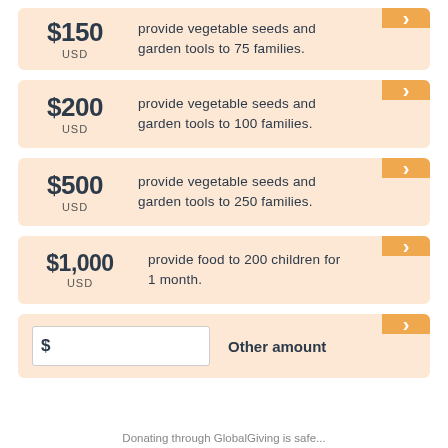$150 USD — provide vegetable seeds and garden tools to 75 families.
$200 USD — provide vegetable seeds and garden tools to 100 families.
$500 USD — provide vegetable seeds and garden tools to 250 families.
$1,000 USD — provide food to 200 children for 1 month.
Other amount
Donating through GlobalGiving is safe...